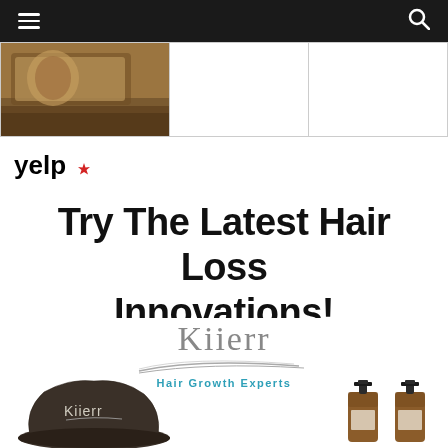Navigation bar with hamburger menu and search icon
[Figure (photo): A photo of a brown leather surface with items on it, occupying the leftmost cell of a three-column table row]
[Figure (logo): Yelp logo with burst asterisk icon]
Try The Latest Hair Loss Innovations!
[Figure (illustration): Kiierr Hair Growth Experts advertisement showing the Kiierr brand logo with swoosh underline, tagline 'Hair Growth Experts', a dark cap with Kiierr branding on the left, and two amber glass pump bottles on the right]